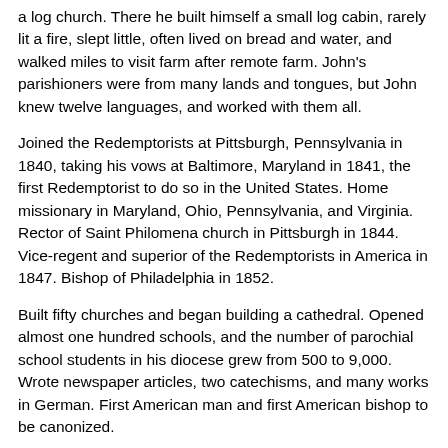a log church. There he built himself a small log cabin, rarely lit a fire, slept little, often lived on bread and water, and walked miles to visit farm after remote farm. John's parishioners were from many lands and tongues, but John knew twelve languages, and worked with them all.
Joined the Redemptorists at Pittsburgh, Pennsylvania in 1840, taking his vows at Baltimore, Maryland in 1841, the first Redemptorist to do so in the United States. Home missionary in Maryland, Ohio, Pennsylvania, and Virginia. Rector of Saint Philomena church in Pittsburgh in 1844. Vice-regent and superior of the Redemptorists in America in 1847. Bishop of Philadelphia in 1852.
Built fifty churches and began building a cathedral. Opened almost one hundred schools, and the number of parochial school students in his diocese grew from 500 to 9,000. Wrote newspaper articles, two catechisms, and many works in German. First American man and first American bishop to be canonized.
PAPAL INTENTIONS: